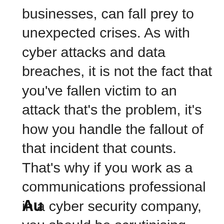businesses, can fall prey to unexpected crises. As with cyber attacks and data breaches, it is not the fact that you've fallen victim to an attack that's the problem, it's how you handle the fallout of that incident that counts. That's why if you work as a communications professional in a cyber security company, you should be scrutinising your crisis management plan right now to ensure that it's still fit-for-purpose in a world where most executives are working from home and at the mercy of somewhat unstable internet connections. If you haven't done so yet, be sure to test out your crisis management plan to see that it can steer you out of troubled waters.
Au